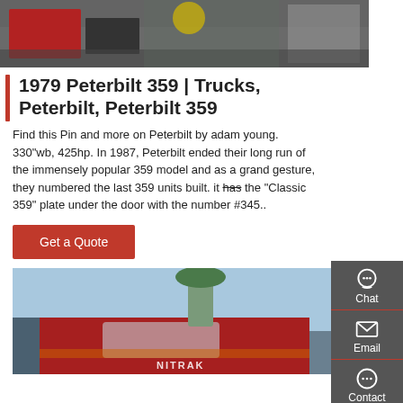[Figure (photo): Top portion of a photo showing a truck or vehicle on a warehouse/industrial floor with dark tarpaulin/equipment visible]
1979 Peterbilt 359 | Trucks, Peterbilt, Peterbilt 359
Find this Pin and more on Peterbilt by adam young. 330"wb, 425hp. In 1987, Peterbilt ended their long run of the immensely popular 359 model and as a grand gesture, they numbered the last 359 units built. it has the "Classic 359" plate under the door with the number #345..
[Figure (other): Get a Quote button — red rectangular button with white text]
[Figure (photo): Bottom photo showing a red truck (Nitrak) with a large green air filter/stack on top, blue sky background]
[Figure (infographic): Sidebar navigation panel with Chat, Email, Contact, and Top buttons on dark grey background]